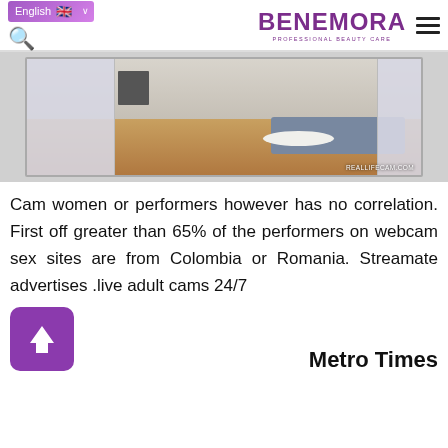English | BENEMORA PROFESSIONAL BEAUTY CARE
[Figure (screenshot): Screenshot of a webcam live streaming website (reallifecam.com) showing a room with a couch, wood floor, chat panels on left and right sides, and a watermark 'REALLIFECAM.COM' at lower right.]
Cam women or performers however has no correlation. First off greater than 65% of the performers on webcam sex sites are from Colombia or Romania. Streamate advertises .live adult cams 24/7
Metro Times